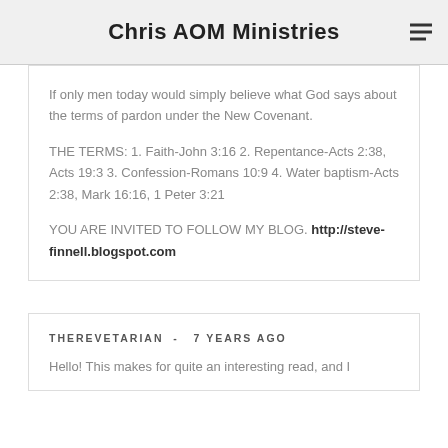Chris AOM Ministries
If only men today would simply believe what God says about the terms of pardon under the New Covenant.

THE TERMS: 1. Faith-John 3:16 2. Repentance-Acts 2:38, Acts 19:3 3. Confession-Romans 10:9 4. Water baptism-Acts 2:38, Mark 16:16, 1 Peter 3:21

YOU ARE INVITED TO FOLLOW MY BLOG. http://steve-finnell.blogspot.com
THEREVETARIAN - 7 YEARS AGO

Hello! This makes for quite an interesting read, and I